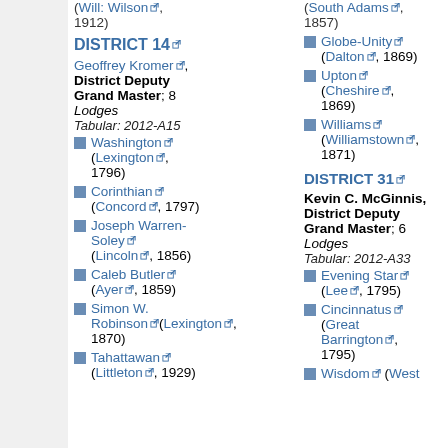(Will: Wilson [link], 1912)
DISTRICT 14
Geoffrey Kromer [link], District Deputy Grand Master; 8 Lodges
Tabular: 2012-A15
Washington [link] (Lexington [link], 1796)
Corinthian [link] (Concord [link], 1797)
Joseph Warren-Soley [link] (Lincoln [link], 1856)
Caleb Butler [link] (Ayer [link], 1859)
Simon W. Robinson [link] (Lexington [link], 1870)
Tahattawan [link] (Littleton [link], 1929)
(South Adams [link], 1857)
Globe-Unity [link] (Dalton [link], 1869)
Upton [link] (Cheshire [link], 1869)
Williams [link] (Williamstown [link], 1871)
DISTRICT 31
Kevin C. McGinnis, District Deputy Grand Master; 6 Lodges
Tabular: 2012-A33
Evening Star [link] (Lee [link], 1795)
Cincinnatus [link] (Great Barrington [link], 1795)
Wisdom [link] (West [link]...